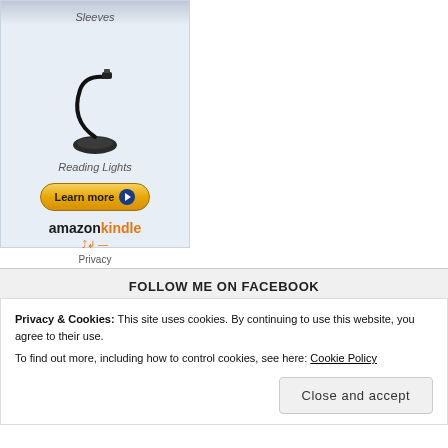[Figure (screenshot): Amazon Kindle advertisement showing a Kindle reading light accessory with 'Learn more' button, amazon kindle logo, and Privacy link]
FOLLOW ME ON FACEBOOK
Privacy & Cookies: This site uses cookies. By continuing to use this website, you agree to their use.
To find out more, including how to control cookies, see here: Cookie Policy
Close and accept